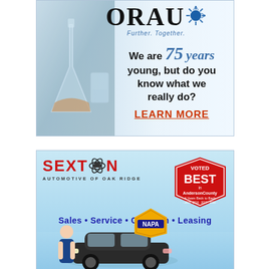[Figure (illustration): ORAU advertisement with laboratory beakers photo background. Features ORAU logo with sunburst, tagline 'Further. Together.', text 'We are 75 years young, but do you know what we really do?' and 'LEARN MORE' call to action in red.]
[Figure (illustration): Sexton Automotive of Oak Ridge advertisement on light blue background. Features red SEXTON logo with atom/car graphic, 'Voted Best in Anderson County 4 Years Back to Back 2015-2016-2017-2018' badge, 'Sales • Service • Collision • Leasing' in blue, NAPA logo, car and people at bottom.]